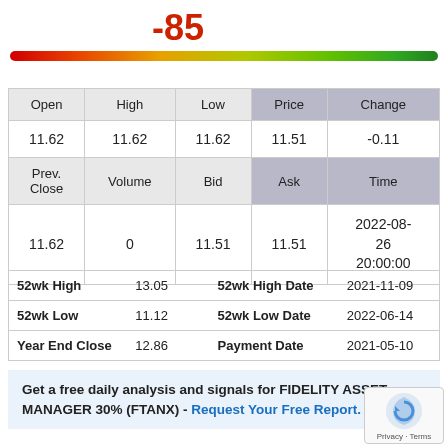-85
[Figure (infographic): Horizontal sentiment gauge bar ranging from red (left) to green (right), indicating a score of -85]
| Open | High | Low | Price | Change |
| --- | --- | --- | --- | --- |
| 11.62 | 11.62 | 11.62 | 11.51 | -0.11 |
| Prev. Close | Volume | Bid | Ask | Time |
| 11.62 | 0 | 11.51 | 11.51 | 2022-08-26 20:00:00 |
| 52wk High | 13.05 | 52wk High Date | 2021-11-09 |
| 52wk Low | 11.12 | 52wk Low Date | 2022-06-14 |
| Year End Close | 12.86 | Payment Date | 2021-05-10 |
Get a free daily analysis and signals for FIDELITY ASSET MANAGER 30% (FTANX) - Request Your Free Report.